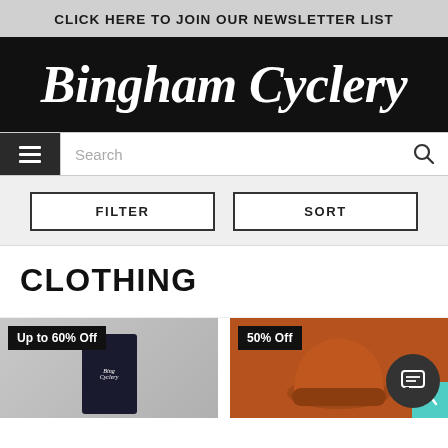CLICK HERE TO JOIN OUR NEWSLETTER LIST
[Figure (logo): Bingham Cyclery logo — white cursive/script text on black background]
Search
FILTER
SORT
CLOTHING
Up to 60% Off
50% Off